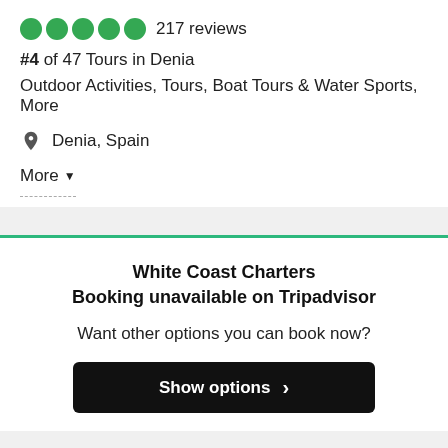217 reviews
#4 of 47 Tours in Denia
Outdoor Activities, Tours, Boat Tours & Water Sports, More
Denia, Spain
More
White Coast Charters
Booking unavailable on Tripadvisor
Want other options you can book now?
Show options
Looking for something else?